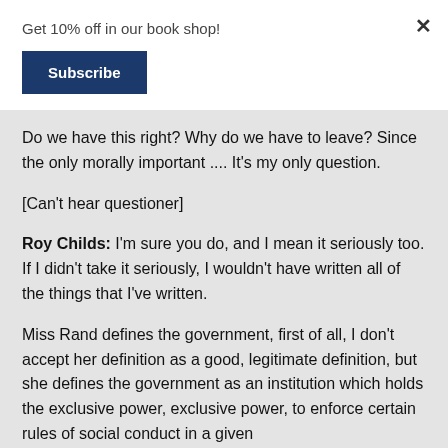Get 10% off in our book shop!
Subscribe
×
Do we have this right? Why do we have to leave? Since the only morally important .... It's my only question.
[Can't hear questioner]
Roy Childs: I'm sure you do, and I mean it seriously too. If I didn't take it seriously, I wouldn't have written all of the things that I've written.
Miss Rand defines the government, first of all, I don't accept her definition as a good, legitimate definition, but she defines the government as an institution which holds the exclusive power, exclusive power, to enforce certain rules of social conduct in a given...